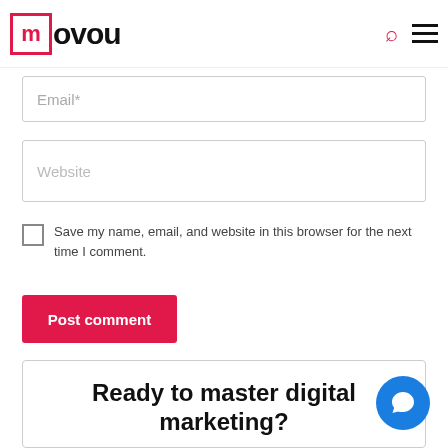movou
Email*
Website
Save my name, email, and website in this browser for the next time I comment.
Post comment
Ready to master digital marketing?
Subscribe to our weekly rundown of